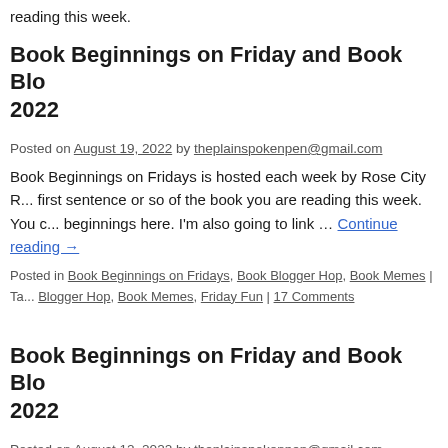reading this week.
Book Beginnings on Friday and Book Blo... 2022
Posted on August 19, 2022 by theplainspokenpen@gmail.com
Book Beginnings on Fridays is hosted each week by Rose City R... first sentence or so of the book you are reading this week. You c... beginnings here. I'm also going to link … Continue reading →
Posted in Book Beginnings on Fridays, Book Blogger Hop, Book Memes | Ta... Blogger Hop, Book Memes, Friday Fun | 17 Comments
Book Beginnings on Friday and Book Blo... 2022
Posted on August 12, 2022 by theplainspokenpen@gmail.com
Book Beginnings on Fridays is hosted each week by Rose City R... first sentence or so of the book you are reading this week. You c...